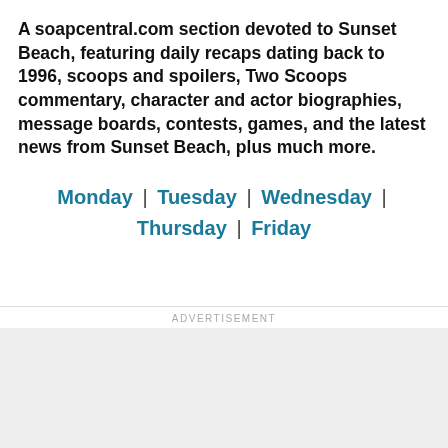A soapcentral.com section devoted to Sunset Beach, featuring daily recaps dating back to 1996, scoops and spoilers, Two Scoops commentary, character and actor biographies, message boards, contests, games, and the latest news from Sunset Beach, plus much more.
Monday | Tuesday | Wednesday | Thursday | Friday
ADVERTISEMENT